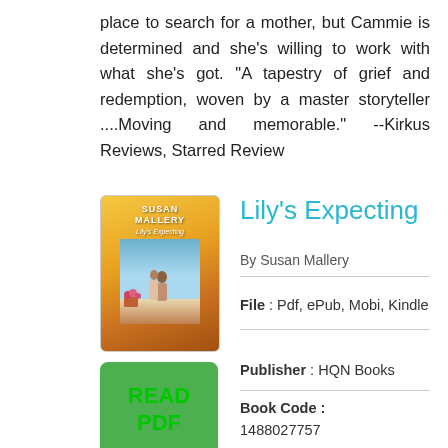place to search for a mother, but Cammie is determined and she's willing to work with what she's got. "A tapestry of grief and redemption, woven by a master storyteller ....Moving and memorable." --Kirkus Reviews, Starred Review
[Figure (illustration): Book cover for Lily's Expecting by Susan Mallery, showing a couple embracing with a yellow/orange gradient background and flowers]
Lily's Expecting
By Susan Mallery
[Figure (illustration): Green READ PDF button]
File : Pdf, ePub, Mobi, Kindle
Publisher : HQN Books
Book Code : 1488027757